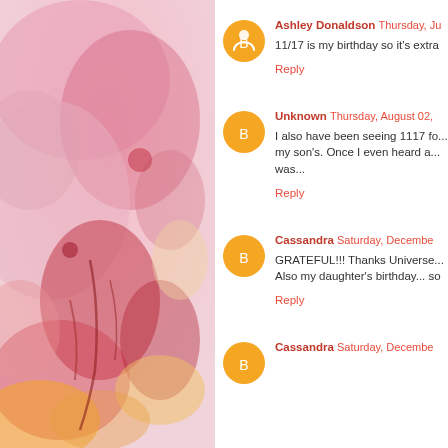[Figure (illustration): Watercolor painting with pink, red, orange, and yellow abstract floral/organic shapes on the left half of the page]
Ashley Donaldson Thursday, J...
11/17 is my birthday so it's extra...
Reply
Unknown Thursday, August 02,...
I also have been seeing 1117 fo... my son's. Once I even heard a... was...
Reply
Cassandra Saturday, December...
GRATEFUL!!! Thanks Universe... Also my daughter's birthday... so
Reply
Cassandra Saturday, December...